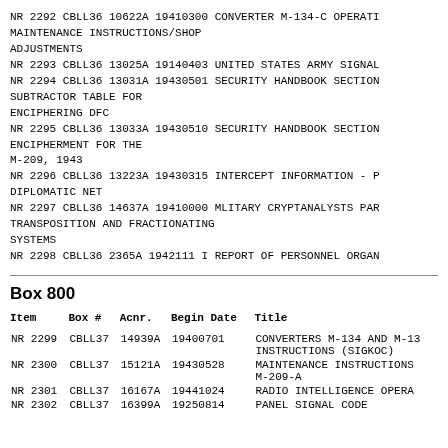NR 2292 CBLL36 10622A 19410300 CONVERTER M-134-C MAINTENANCE INSTRUCTIONS/SHOP ADJUSTMENTS
NR 2293 CBLL36 13025A 19140403 UNITED STATES ARMY SIGNAL
NR 2294 CBLL36 13031A 19430501 SECURITY HANDBOOK SECTION SUBTRACTOR TABLE FOR ENCIPHERING DFC
NR 2295 CBLL36 13033A 19430510 SECURITY HANDBOOK SECTION ENCIPHERMENT FOR THE M-209, 1943
NR 2296 CBLL36 13223A 19430315 INTERCEPT INFORMATION - DIPLOMATIC NET
NR 2297 CBLL36 14637A 19410000 MLITARY CRYPTANALYSTS PAR TRANSPOSITION AND FRACTIONATING SYSTEMS
NR 2298 CBLL36 2365A 1942111 I REPORT OF PERSONNEL ORGAN
Box 800
| Item | Box # | Acnr. | Begin Date | Title |
| --- | --- | --- | --- | --- |
| NR 2299 | CBLL37 | 14939A | 19400701 | CONVERTERS M-134 AND M-134 INSTRUCTIONS (SIGKOC) |
| NR 2300 | CBLL37 | 15121A | 19430528 | MAINTENANCE INSTRUCTIONS M-209-A |
| NR 2301 | CBLL37 | 16167A | 19441024 | RADIO INTELLIGENCE OPERATIONS |
| NR 2302 | CBLL37 | 16399A | 19250814 | PANEL SIGNAL CODE |